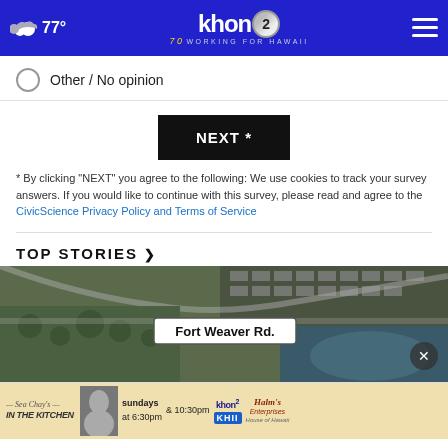77° khon2 WORKING FOR HAWAII
Other / No opinion
NEXT *
* By clicking "NEXT" you agree to the following: We use cookies to track your survey answers. If you would like to continue with this survey, please read and agree to the CivicScience Privacy Policy and Terms of Service
TOP STORIES ›
[Figure (map): Aerial satellite map view with Fort Weaver Rd. label overlay and close button]
[Figure (infographic): Advertisement banner: Sea Chay's In The Kitchen, sundays at 6:30pm & 10:30pm, khon2 KHII Halm's Enterprises]